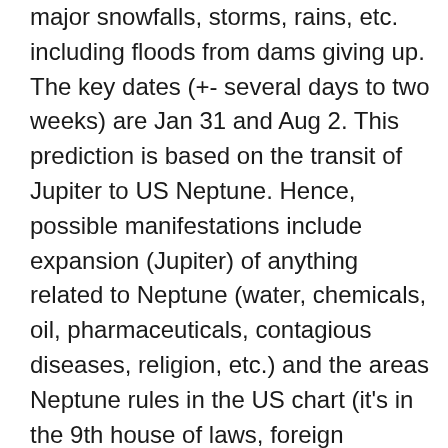major snowfalls, storms, rains, etc. including floods from dams giving up. The key dates (+- several days to two weeks) are Jan 31 and Aug 2. This prediction is based on the transit of Jupiter to US Neptune. Hence, possible manifestations include expansion (Jupiter) of anything related to Neptune (water, chemicals, oil, pharmaceuticals, contagious diseases, religion, etc.) and the areas Neptune rules in the US chart (it's in the 9th house of laws, foreign matters, and higher education and rules over the 4th house  of land, security, food, and banks'  savings). Some possible examples include expansion of the oil industry and increased profits from oil, and expansion of or increased news about the following industries/areas: navy, beverages (esp. alcoholic), healthcare, drugs, chemicals, movies, music, and religion. For ex., an oil (or some chemical) spill spreads poisons in the water, oil pipe leaks, the number of navy bases increases, more navy ships are